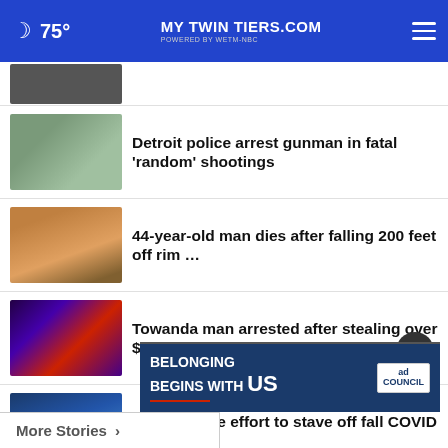MyTwinTiers.com — 75°
[Figure (photo): Partial thumbnail of a news story at top (cropped)]
Detroit police arrest gunman in fatal 'random' shootings
44-year-old man dies after falling 200 feet off rim …
Towanda man arrested after stealing over $3000 from …
White House effort to stave off fall COVID surge …
Will I be taxed for my student loan forgiveness?
[Figure (infographic): Ad banner: BELONGING BEGINS WITH US — Ad Council logo]
More Stories ›